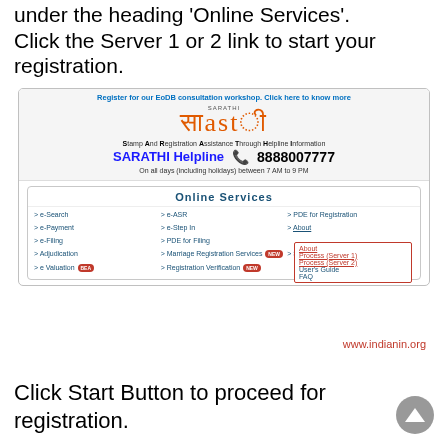under the heading 'Online Services'. Click the Server 1 or 2 link to start your registration.
[Figure (screenshot): Screenshot of the SARATHI website showing the SARATHI Helpline information (8888007777) and the Online Services section with a dropdown showing Process (Server 1), Process (Server 2), User's Guide, and FAQ options highlighted with a red border.]
www.indianin.org
Click Start Button to proceed for registration.